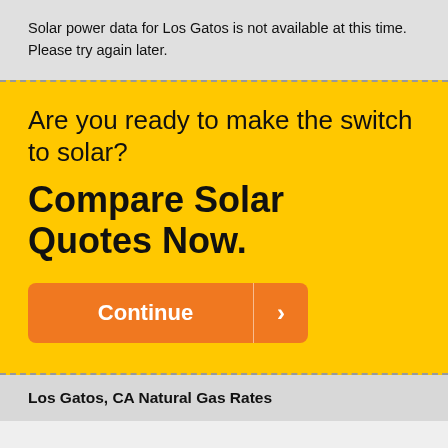Solar power data for Los Gatos is not available at this time. Please try again later.
Are you ready to make the switch to solar?
Compare Solar Quotes Now.
[Figure (other): Orange Continue button with right arrow]
Los Gatos, CA Natural Gas Rates
In the most recent month of natural gas data, , Los Gatos's average rate of $/Mcf – a difference of about n/a from the U.S. average of $/Mcf that month.[*]